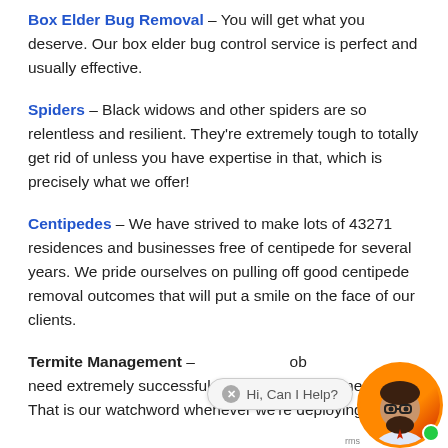Box Elder Bug Removal – You will get what you deserve. Our box elder bug control service is perfect and usually effective.
Spiders – Black widows and other spiders are so relentless and resilient. They're extremely tough to totally get rid of unless you have expertise in that, which is precisely what we offer!
Centipedes – We have strived to make lots of 43271 residences and businesses free of centipede for several years. We pride ourselves on pulling off good centipede removal outcomes that will put a smile on the face of our clients.
Termite Management – We ob need extremely successful pest elimination remedies. That is our watchword whenever we're deploying our